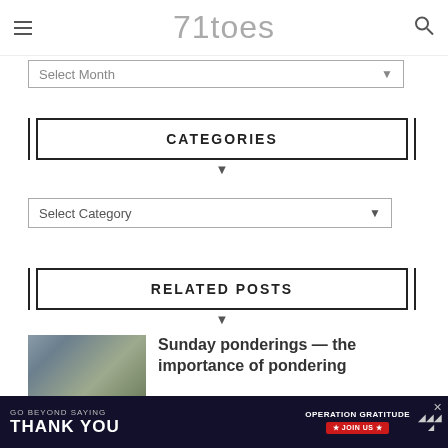71toes
Select Month
CATEGORIES
Select Category
RELATED POSTS
[Figure (photo): Thumbnail photo of people outdoors near a building with trees in background]
Sunday ponderings — the importance of pondering
GO BEYOND SAYING THANK YOU — OPERATION GRATITUDE — JOIN US